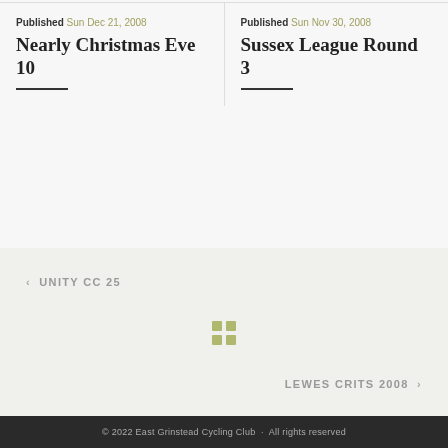Published Sun Dec 21, 2008
Nearly Christmas Eve 10
Published Sun Nov 30, 2008
Sussex League Round 3
< UNITY CC 25
[Figure (other): 2x2 grid icon (four small squares arranged in a 2x2 pattern), olive/yellow-green color]
LEWES CRITS 2008 >
© 2022 East Grinstead Cycling Club · All rights reserved